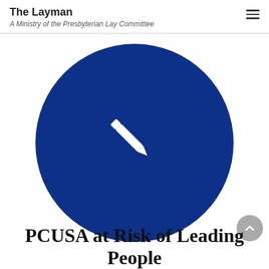The Layman
A Ministry of the Presbyterian Lay Committee
[Figure (illustration): Large dark blue circle with a white pencil/edit icon in the center, on a white background]
PCUSA at Risk of Leading People